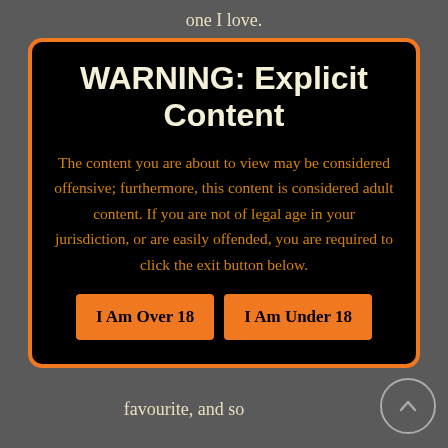one I love.
WARNING: Explicit Content
The content you are about to view may be considered offensive; furthermore, this content is considered adult content. If you are not of legal age in your jurisdiction, or are easily offended, you are required to click the exit button below.
I Am Over 18   I Am Under 18
favourite, and so